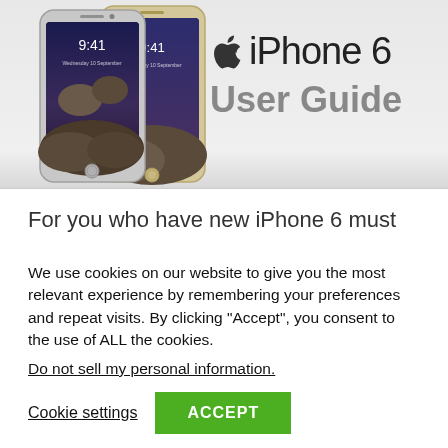[Figure (illustration): Two iPhone 6 devices (one space gray, one gold) showing lock screen with 9:41 time, against a light gray gradient background. Apple logo and 'iPhone 6' text with 'User Guide' subtitle appear to the right.]
For you who have new iPhone 6 must
We use cookies on our website to give you the most relevant experience by remembering your preferences and repeat visits. By clicking “Accept”, you consent to the use of ALL the cookies.
Do not sell my personal information.
Cookie settings   ACCEPT